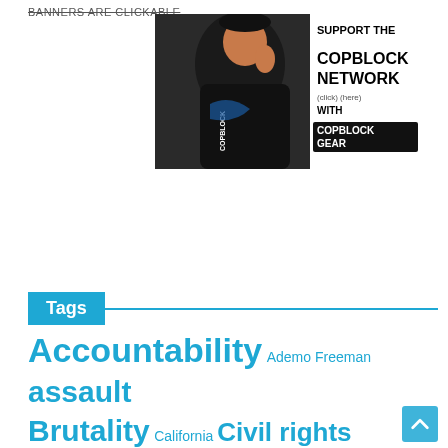BANNERS ARE CLICKABLE
[Figure (photo): Advertisement banner for CopBlock Network showing a person wearing CopBlock hoodie and cap, with text 'SUPPORT THE COPBLOCK NETWORK (click) WITH (here) COPBLOCK GEAR']
Tags
Accountability Ademo Freeman assault Brutality California Civil rights cop block copblock copblock.org Copblock submissions Corruption Dishonesty double-